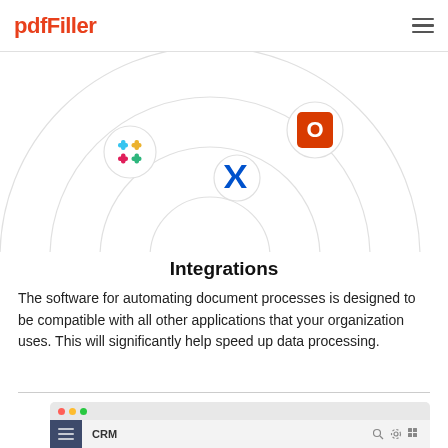pdfFiller
[Figure (infographic): Integration diagram showing concentric arcs with app icons: Slack (colorful hashtag-like icon), Microsoft Office (orange square with O), and Confluence (blue X icon), connected by circular arc lines representing integrations.]
Integrations
The software for automating document processes is designed to be compatible with all other applications that your organization uses. This will significantly help speed up data processing.
[Figure (screenshot): Bottom portion of a browser window mockup showing a CRM application interface with a dark navy sidebar and top navigation bar with search and settings icons.]